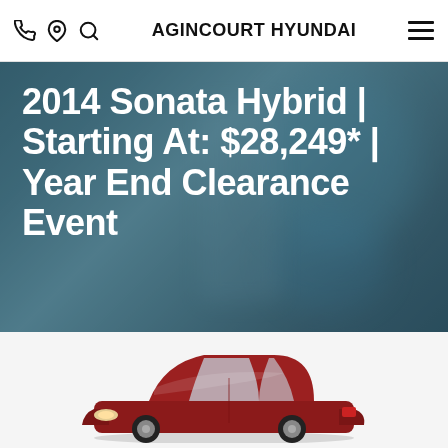AGINCOURT HYUNDAI
2014 Sonata Hybrid | Starting At: $28,249* | Year End Clearance Event
[Figure (photo): Partial view of a red Hyundai Sonata Hybrid sedan photographed from the front-left angle, visible from approximately the hood upward, against a white background.]